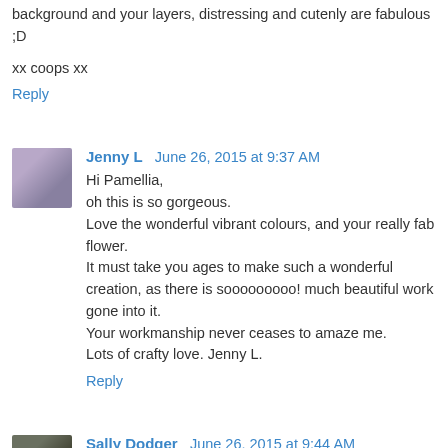background and your layers, distressing and cutenly are fabulous ;D
xx coops xx
Reply
Jenny L  June 26, 2015 at 9:37 AM
Hi Pamellia,
oh this is so gorgeous.
Love the wonderful vibrant colours, and your really fab flower.
It must take you ages to make such a wonderful creation, as there is sooooooooo! much beautiful work gone into it.
Your workmanship never ceases to amaze me.
Lots of crafty love. Jenny L.
Reply
Sally Dodger  June 26, 2015 at 9:44 AM
Gorgeous card Pamellia. Your new woodgrain technique